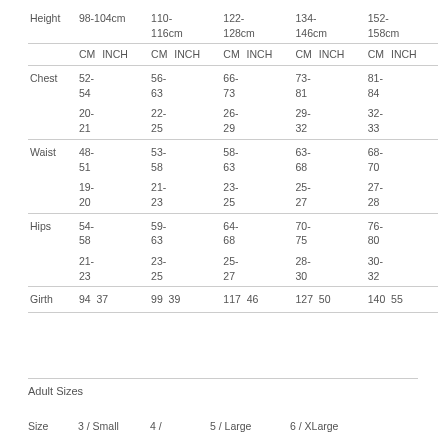|  | 98-104cm | 110-116cm | 122-128cm | 134-146cm | 152-158cm |
| --- | --- | --- | --- | --- | --- |
|  | CM  INCH | CM  INCH | CM  INCH | CM  INCH | CM  INCH |
| Chest | 52-54  20-21 | 56-63  22-25 | 66-73  26-29 | 73-81  29-32 | 81-84  32-33 |
| Waist | 48-51  19-20 | 53-58  21-23 | 58-63  23-25 | 63-68  25-27 | 68-70  27-28 |
| Hips | 54-58  21-23 | 59-63  23-25 | 64-68  25-27 | 70-75  28-30 | 76-80  30-32 |
| Girth | 94  37 | 99  39 | 117  46 | 127  50 | 140  55 |
Adult Sizes
Size  3 / Small  4 /  5 / Large  6 / XLarge